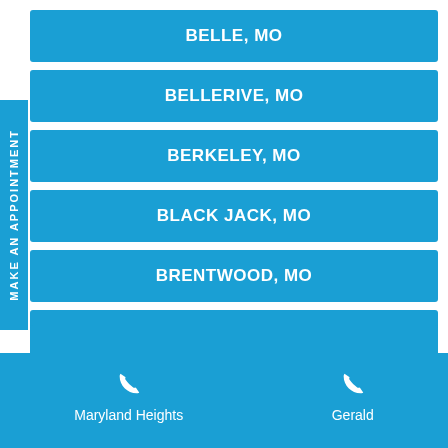BELLE, MO
BELLERIVE, MO
BERKELEY, MO
BLACK JACK, MO
BRENTWOOD, MO
BRIDGETON, MO
Maryland Heights  Gerald